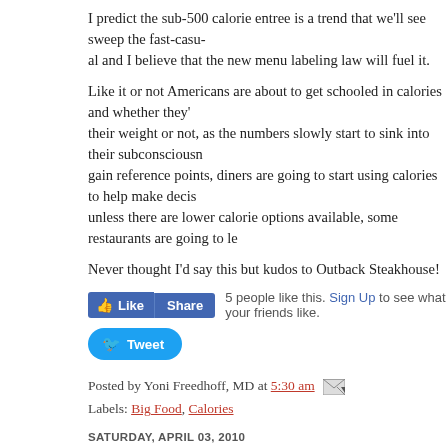I predict the sub-500 calorie entree is a trend that we'll see sweep the fast-casual and I believe that the new menu labeling law will fuel it.
Like it or not Americans are about to get schooled in calories and whether they their weight or not, as the numbers slowly start to sink into their subconsciousness gain reference points, diners are going to start using calories to help make decis unless there are lower calorie options available, some restaurants are going to le
Never thought I'd say this but kudos to Outback Steakhouse!
[Figure (screenshot): Facebook Like and Share buttons followed by '5 people like this. Sign Up to see what your friends like.']
[Figure (screenshot): Twitter Tweet button]
Posted by Yoni Freedhoff, MD at 5:30 am [email icon]
Labels: Big Food, Calories
SATURDAY, APRIL 03, 2010
Saturday Stories
[Figure (photo): Partial image of a wooden surface, warm brown tones, shown at bottom of page]